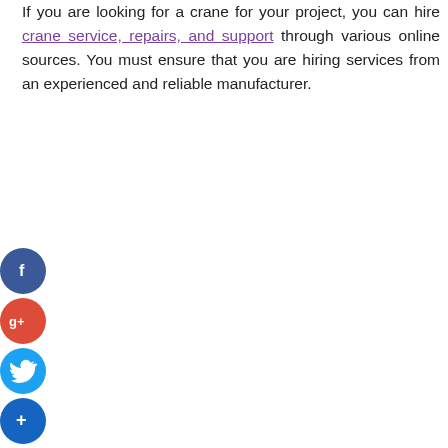If you are looking for a crane for your project, you can hire crane service, repairs, and support through various online sources. You must ensure that you are hiring services from an experienced and reliable manufacturer.
[Figure (infographic): Social media share buttons: Facebook (blue circle with f), Google+ (red circle with g+), Twitter (light blue circle with bird icon), Share/Add (dark blue circle with + icon)]